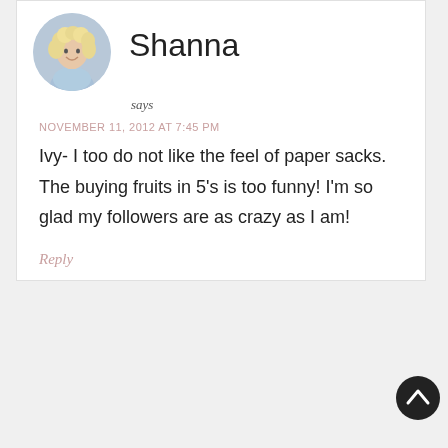[Figure (photo): Circular avatar photo of a woman with blonde curly hair wearing a light blue top]
Shanna
says
NOVEMBER 11, 2012 AT 7:45 PM
Ivy- I too do not like the feel of paper sacks. The buying fruits in 5's is too funny! I'm so glad my followers are as crazy as I am!
Reply